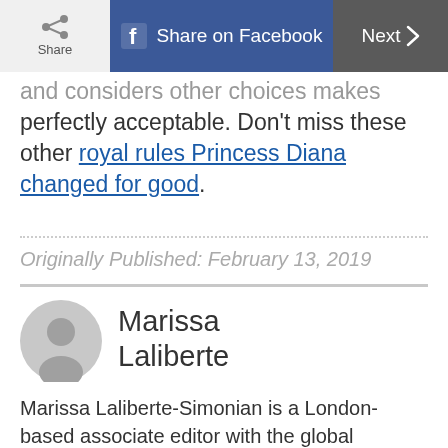Share | Share on Facebook | Next
and considers other choices makes perfectly acceptable. Don't miss these other royal rules Princess Diana changed for good.
Originally Published: February 13, 2019
[Figure (illustration): Circular avatar/profile placeholder icon in gray]
Marissa Laliberte
Marissa Laliberte-Simonian is a London-based associate editor with the global promotions team at WebMD's Medscape.com and was previously a staff writer for Reader's Digest. Her work has also appeared in Business Insider, Parents magazine, CreakyJoints and the